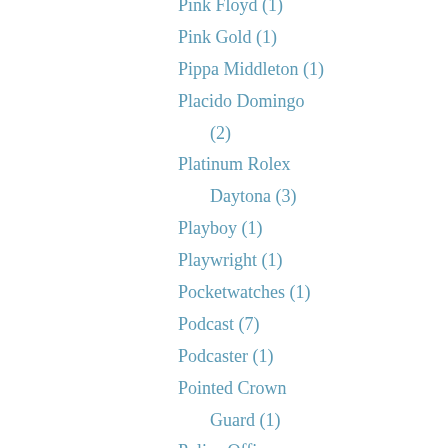Pink Floyd (1)
Pink Gold (1)
Pippa Middleton (1)
Placido Domingo (2)
Platinum Rolex Daytona (3)
Playboy (1)
Playwright (1)
Pocketwatches (1)
Podcast (7)
Podcaster (1)
Pointed Crown Guard (1)
Police Officer Wearing Rolex (1)
Politician Wearing Panerai (1)
Politician Wearing